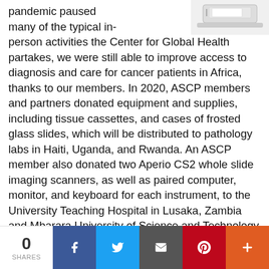[Figure (photo): Partial image of a medical/lab scanner device, top right corner]
pandemic paused many of the typical in-person activities the Center for Global Health partakes, we were still able to improve access to diagnosis and care for cancer patients in Africa, thanks to our members. In 2020, ASCP members and partners donated equipment and supplies, including tissue cassettes, and cases of frosted glass slides, which will be distributed to pathology labs in Haiti, Uganda, and Rwanda. An ASCP member also donated two Aperio CS2 whole slide imaging scanners, as well as paired computer, monitor, and keyboard for each instrument, to the University Teaching Hospital in Lusaka, Zambia and Mbarara University of Science and Technology (MUST) in Mbarara, Uganda. With the support of the Centers for Disease Control and Prevention (CDC), ASCP provided diagnostic test kits for SARS-CoV-2 and nasopharyngeal swabs to the Government of Mozambique
0 SHARES | Facebook | Twitter | Email | Pinterest | +